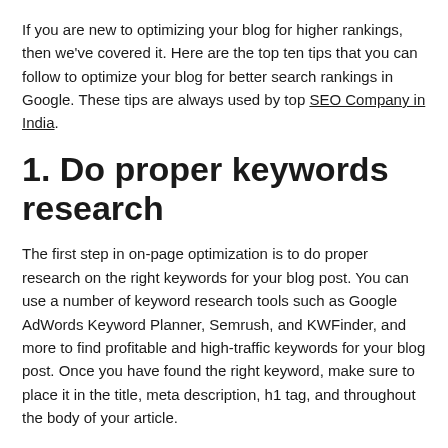If you are new to optimizing your blog for higher rankings, then we've covered it. Here are the top ten tips that you can follow to optimize your blog for better search rankings in Google. These tips are always used by top SEO Company in India.
1. Do proper keywords research
The first step in on-page optimization is to do proper research on the right keywords for your blog post. You can use a number of keyword research tools such as Google AdWords Keyword Planner, Semrush, and KWFinder, and more to find profitable and high-traffic keywords for your blog post. Once you have found the right keyword, make sure to place it in the title, meta description, h1 tag, and throughout the body of your article.